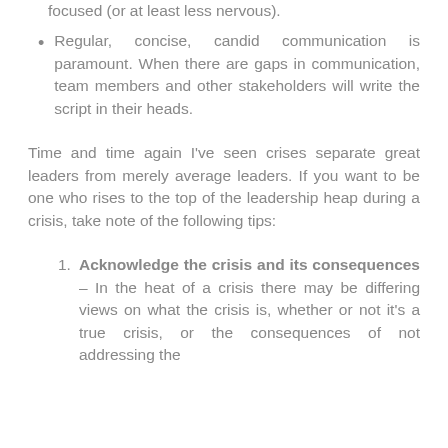focused (or at least less nervous).
Regular, concise, candid communication is paramount. When there are gaps in communication, team members and other stakeholders will write the script in their heads.
Time and time again I've seen crises separate great leaders from merely average leaders. If you want to be one who rises to the top of the leadership heap during a crisis, take note of the following tips:
Acknowledge the crisis and its consequences – In the heat of a crisis there may be differing views on what the crisis is, whether or not it's a true crisis, or the consequences of not addressing the